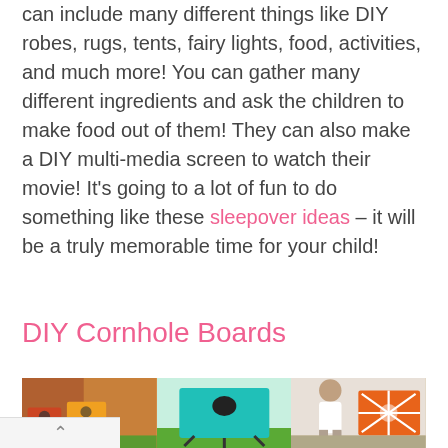can include many different things like DIY robes, rugs, tents, fairy lights, food, activities, and much more! You can gather many different ingredients and ask the children to make food out of them! They can also make a DIY multi-media screen to watch their movie! It's going to a lot of fun to do something like these sleepover ideas – it will be a truly memorable time for your child!
DIY Cornhole Boards
[Figure (photo): Three photos showing DIY cornhole boards: colorful boards with holes in a backyard setting, a teal/cyan board with black stand, and a child with orange/white sunburst patterned board]